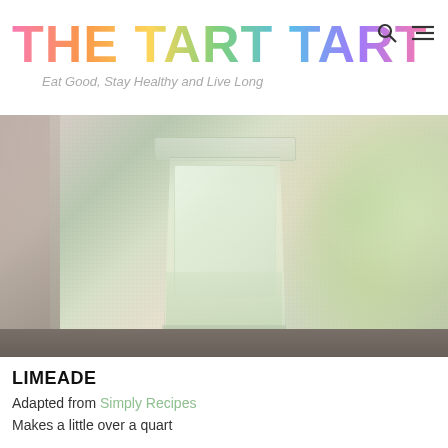THE TART TART — Eat Good, Stay Healthy and Live Long
[Figure (photo): A glass of limeade with ice, sitting on a windowsill with a blurred outdoor background]
LIMEADE
Adapted from Simply Recipes
Makes a little over a quart